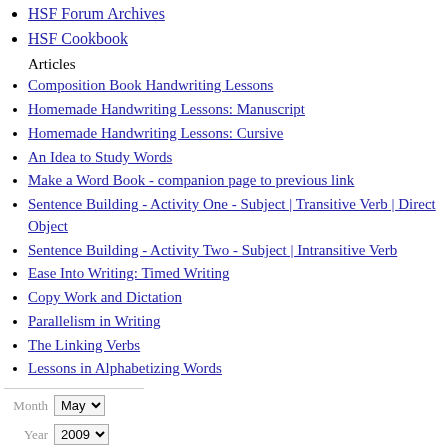HSF Forum Archives
HSF Cookbook
Articles
Composition Book Handwriting Lessons
Homemade Handwriting Lessons: Manuscript
Homemade Handwriting Lessons: Cursive
An Idea to Study Words
Make a Word Book - companion page to previous link
Sentence Building - Activity One - Subject | Transitive Verb | Direct Object
Sentence Building - Activity Two - Subject | Intransitive Verb
Ease Into Writing: Timed Writing
Copy Work and Dictation
Parallelism in Writing
The Linking Verbs
Lessons in Alphabetizing Words